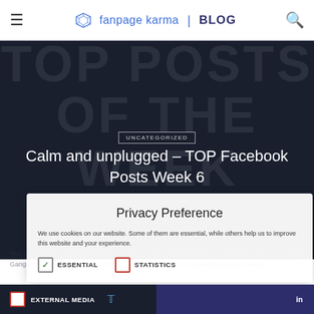fanpage karma | BLOG
[Figure (screenshot): Hero background with large faded text reading 'TOP POSTS OF THE WEEK' on dark background]
UNCATEGORIZED
Calm and unplugged – TOP Facebook Posts Week 6
Privacy Preference
We use cookies on our website. Some of them are essential, while others help us to improve this website and your experience.
ESSENTIAL
STATISTICS
EXTERNAL MEDIA
This week the fans seemed to be a little more relaxed. Books and a beautiful, unplugged version of Gangnam Style made it into the Top Facebook Post List. And again those posts using…